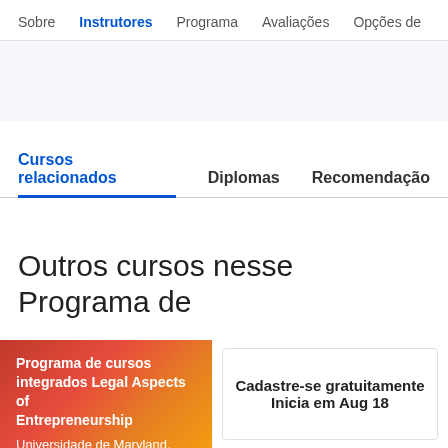Sobre  Instrutores  Programa  Avaliações  Opções de
Cursos relacionados  Diplomas  Recomendação
Outros cursos nesse Programa de
Programa de cursos integrados Legal Aspects of Entrepreneurship
Universidade de Maryland, College Park
Cadastre-se gratuitamente
Inicia em Aug 18